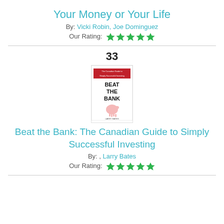Your Money or Your Life
By: Vicki Robin, Joe Dominguez
Our Rating: ★★★★★
33
[Figure (photo): Book cover of 'Beat the Bank: The Canadian Guide to Simply Successful Investing' by Larry Bates. White cover with red banner at top, large bold black text, and a piggy bank illustration.]
Beat the Bank: The Canadian Guide to Simply Successful Investing
By: , Larry Bates
Our Rating: ★★★★★